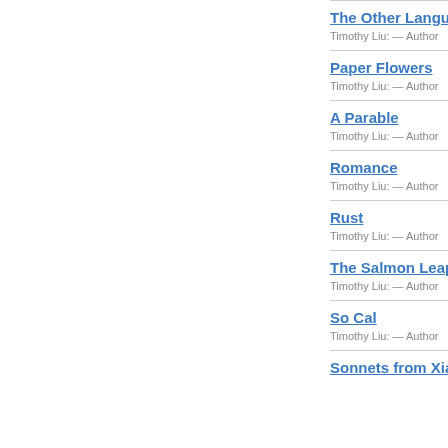The Other Language — Timothy Liu: — Author
Paper Flowers — Timothy Liu: — Author
A Parable — Timothy Liu: — Author
Romance — Timothy Liu: — Author
Rust — Timothy Liu: — Author
The Salmon Leaping u... — Timothy Liu: — Author
So Cal — Timothy Liu: — Author
Sonnets from Xian...